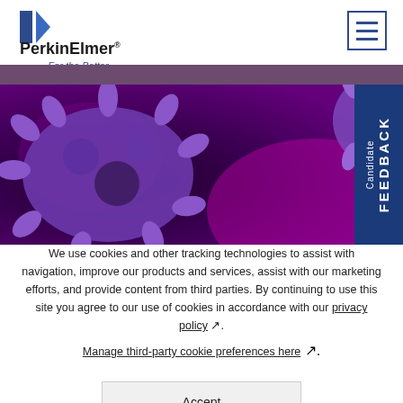[Figure (logo): PerkinElmer logo with blue P and arrow mark, bold text 'PerkinElmer' with registered trademark, tagline 'For the Better' in blue italic]
[Figure (photo): Close-up microscopy image of coronavirus particles rendered in purple/violet and magenta tones on dark background]
[Figure (other): Blue vertical tab on right side with white text reading 'Candidate FEEDBACK' rotated 90 degrees]
We use cookies and other tracking technologies to assist with navigation, improve our products and services, assist with our marketing efforts, and provide content from third parties. By continuing to use this site you agree to our use of cookies in accordance with our privacy policy ↗.
Manage third-party cookie preferences here ↗.
Accept